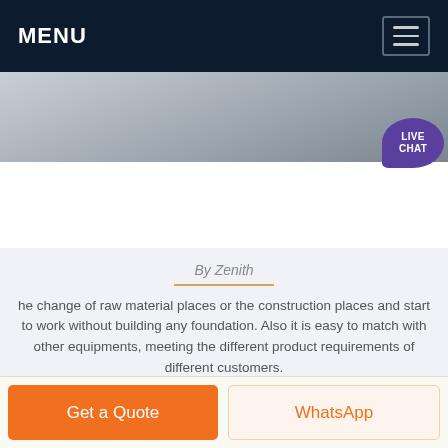MENU
[Figure (photo): Gray stone or concrete surface texture image used as a banner.]
Mobile Cone Crusher
By Zenith
he change of raw material places or the construction places and start to work without building any foundation. Also it is easy to match with other equipments, meeting the different product requirements of different customers.
Get a Quote
WhatsApp